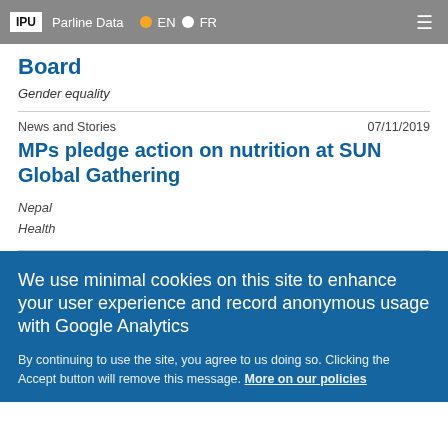IPU  Parline Data  EN  FR
Board
Gender equality
News and Stories  07/11/2019
MPs pledge action on nutrition at SUN Global Gathering
Nepal
Health
We use minimal cookies on this site to enhance your user experience and record anonymous usage with Google Analytics
By continuing to use the site, you agree to us doing so. Clicking the Accept button will remove this message. More on our policies